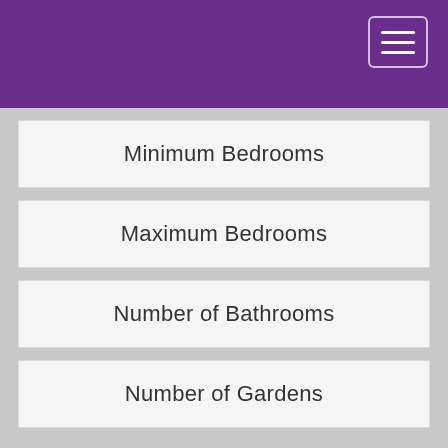Navigation header with hamburger menu
Minimum Bedrooms
Maximum Bedrooms
Number of Bathrooms
Number of Gardens
Property Types
We use cookies
We use cookies and other tracking technologies to improve your browsing experience on our website, to show you personalized content and targeted ads, to analyze our website traffic, and to understand where our visitors are coming from.